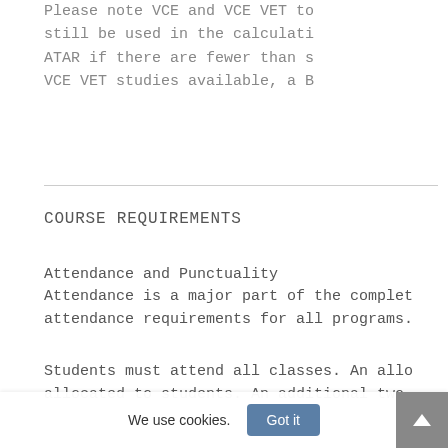Please note VCE and VCE VET to still be used in the calculation ATAR if there are fewer than s VCE VET studies available, a B
COURSE REQUIREMENTS
Attendance and Punctuality
Attendance is a major part of the complet attendance requirements for all programs.
Students must attend all classes. An allo allocated to students. An additional two